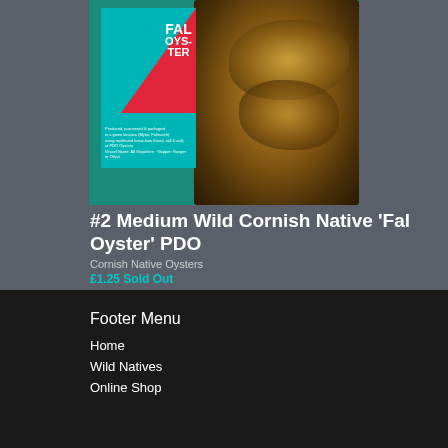[Figure (photo): Photo of a Fal Oyster branded card/packaging (teal with red triangle and white FAL OYSTER text) next to fresh wild native oysters on dark rocky background]
#2 Medium Wild Cornish Native 'Fal Oyster' PDO
Cornish Native Oysters
£1.25 Sold Out
Footer Menu
Home
Wild Natives
Online Shop